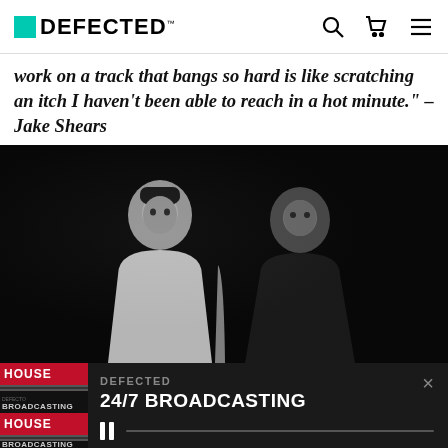DEFECTED
work on a track that bangs so hard is like scratching an itch I haven't been able to reach in a hot minute." – Jake Shears
[Figure (photo): Black and white photo of two men against a dark background. The man on the left wears a white t-shirt, and the man on the right wears a dark jacket.]
DEFECTED
24/7 BROADCASTING